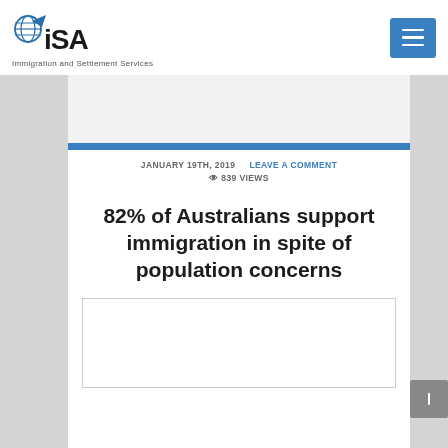ISA Immigration and Settlement Services
JANUARY 19TH, 2019   LEAVE A COMMENT   839 VIEWS
82% of Australians support immigration in spite of population concerns
[Figure (photo): Empty white image placeholder box with light gray border]